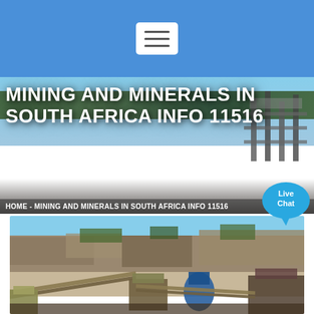[Figure (screenshot): Website navigation bar with blue background and hamburger menu icon]
MINING AND MINERALS IN SOUTH AFRICA INFO 11516
HOME - MINING AND MINERALS IN SOUTH AFRICA INFO 11516
[Figure (illustration): Live Chat speech bubble icon with text 'Live Chat']
[Figure (photo): Open pit mining operation with rocky cliff face in background and heavy machinery including conveyor belts and crushing equipment in the foreground]